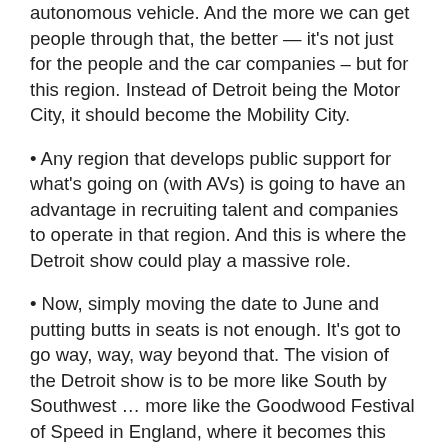autonomous vehicle. And the more we can get people through that, the better — it's not just for the people and the car companies – but for this region. Instead of Detroit being the Motor City, it should become the Mobility City.
• Any region that develops public support for what's going on (with AVs) is going to have an advantage in recruiting talent and companies to operate in that region. And this is where the Detroit show could play a massive role.
• Now, simply moving the date to June and putting butts in seats is not enough. It's got to go way, way, way beyond that. The vision of the Detroit show is to be more like South by Southwest … more like the Goodwood Festival of Speed in England, where it becomes this massive happening … if the DADA is able to pull that off, it's going to be phenomenal.